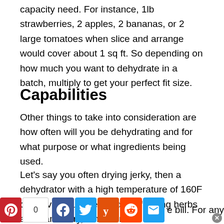capacity need. For instance, 1lb strawberries, 2 apples, 2 bananas, or 2 large tomatoes when slice and arrange would cover about 1 sq ft. So depending on how much you want to dehydrate in a batch, multiply to get your perfect fit size.
Capabilities
Other things to take into consideration are how often will you be dehydrating and for what purpose or what ingredients being used.
Let's say you often drying jerky, then a dehydrator with a high temperature of 160F or above would be needed. If drying herbs are mandatory, a machine that a lower temperature would fit the bill. For any